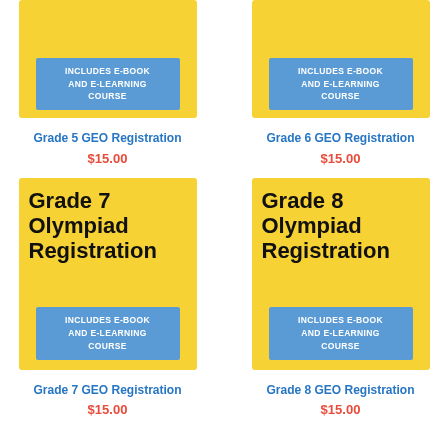[Figure (illustration): Grade 5 Olympiad Registration product card — yellow background with blue badge 'INCLUDES E-BOOK AND E-LEARNING COURSE' (top portion only visible)]
Grade 5 GEO Registration
$15.00
[Figure (illustration): Grade 6 Olympiad Registration product card — yellow background with blue badge 'INCLUDES E-BOOK AND E-LEARNING COURSE' (top portion only visible)]
Grade 6 GEO Registration
$15.00
[Figure (illustration): Grade 7 Olympiad Registration product card — yellow background with bold black text 'Grade 7 Olympiad Registration' and blue badge 'INCLUDES E-BOOK AND E-LEARNING COURSE']
Grade 7 GEO Registration
$15.00
[Figure (illustration): Grade 8 Olympiad Registration product card — yellow background with bold black text 'Grade 8 Olympiad Registration' and blue badge 'INCLUDES E-BOOK AND E-LEARNING COURSE']
Grade 8 GEO Registration
$15.00